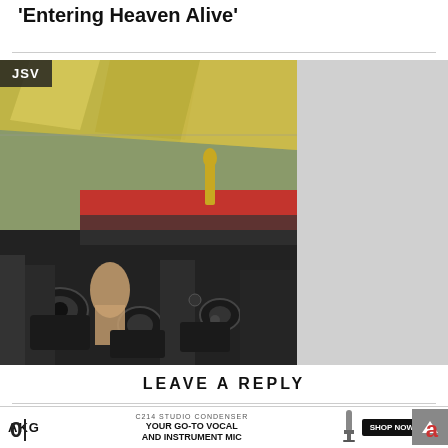'Entering Heaven Alive'
[Figure (photo): Crowd of photographers and press with cameras at what appears to be a red carpet or awards event (Oscars). A red carpet is visible in the background, along with an Oscar statuette. The photo has a dark overlay label 'JSV' in top-left corner. Right side of the area is gray/blank.]
LEAVE A REPLY
[Figure (other): AKG advertisement banner: 'C214 STUDIO CONDENSER - YOUR GO-TO VOCAL AND INSTRUMENT MIC' with image of microphone and SHOP NOW button, and an X close button.]